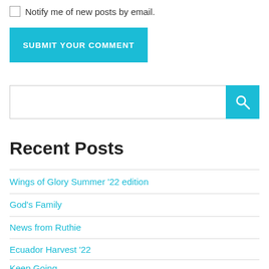Notify me of new posts by email.
SUBMIT YOUR COMMENT
[Figure (other): Search bar with text input field and cyan search button with magnifying glass icon]
Recent Posts
Wings of Glory Summer '22 edition
God's Family
News from Ruthie
Ecuador Harvest '22
Keep Going